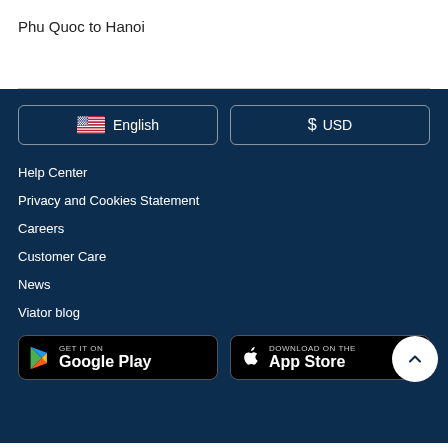Phu Quoc to Hanoi
Help Center
Privacy and Cookies Statement
Careers
Customer Care
News
Viator blog